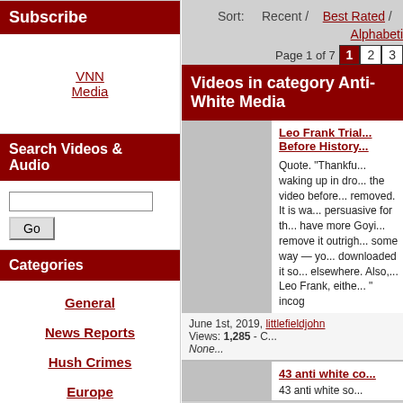Subscribe
VNN Media
Search Videos & Audio
Go
Categories
General
News Reports
Hush Crimes
Europe
Sort: Recent / Best Rated / Alphabeti...
Page 1 of 7  1  2  3
Videos in category Anti-White Media
Leo Frank Trial... Before History...
Quote. "Thankfu... waking up in dro... the video before... removed. It is wa... persuasive for th... have more Goyi... remove it outrigh... some way — yo... downloaded it so... elsewhere. Also,... Leo Frank, eithe... " incog
June 1st, 2019, littlefieldjohn Views: 1,285 - C... None...
43 anti white co...
43 anti white so...